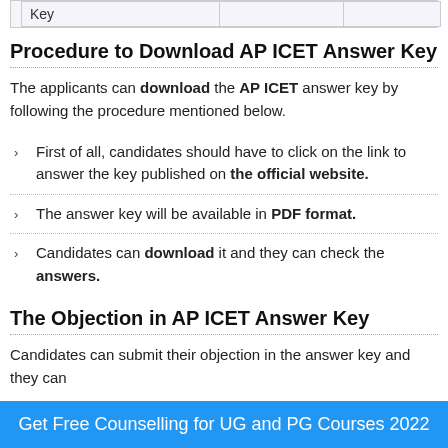|  |  |  |
| --- | --- | --- |
| Key |  |  |
Procedure to Download AP ICET Answer Key
The applicants can download the AP ICET answer key by following the procedure mentioned below.
First of all, candidates should have to click on the link to answer the key published on the official website.
The answer key will be available in PDF format.
Candidates can download it and they can check the answers.
The Objection in AP ICET Answer Key
Candidates can submit their objection in the answer key and they can
Get Free Counselling for UG and PG Courses 2022